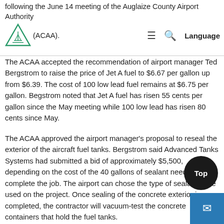following the June 14 meeting of the Auglaize County Airport Authority (ACAA).
The ACAA accepted the recommendation of airport manager Ted Bergstrom to raise the price of Jet A fuel to $6.67 per gallon up from $6.39. The cost of 100 low lead fuel remains at $6.75 per gallon. Begstrom noted that Jet A fuel has risen 55 cents per gallon since the May meeting while 100 low lead has risen 80 cents since May.
The ACAA approved the airport manager's proposal to reseal the exterior of the aircraft fuel tanks. Bergstrom said Advanced Tanks Systems had submitted a bid of approximately $5,500, depending on the cost of the 40 gallons of sealant needed to complete the job. The airport can chose the type of sealant to be used on the project. Once sealing of the concrete exterior is completed, the contractor will vacuum-test the concrete containers that hold the fuel tanks.
Now that the Armstrong Learjet has been moved from the airport to the Armstrong Air and Space Museum in Wapakoneta, the ACAA w